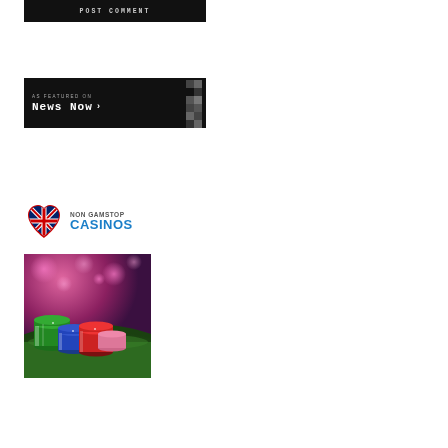[Figure (other): POST COMMENT button — dark/black rectangular button with uppercase monospace text]
[Figure (other): News Now banner — black rectangular banner with 'AS FEATURED ON' text and 'News Now >' logo in monospace font, with pixel/graphic pattern on right side]
[Figure (logo): Non Gamstop Casinos logo — UK flag heart icon on left, 'NON GAMSTOP CASINOS' text in two lines on right]
[Figure (photo): Casino chips photo — stacks of green, blue, red and pink casino chips on a green table surface with pink bokeh background lights]